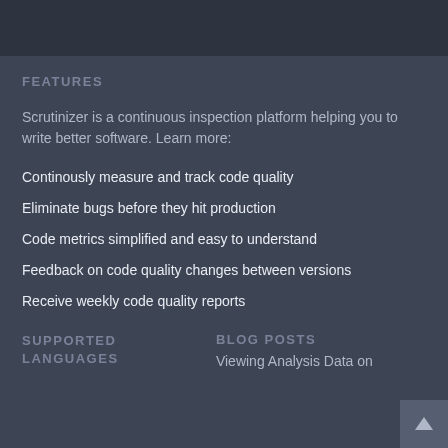FEATURES
Scrutinizer is a continuous inspection platform helping you to write better software. Learn more:
Continously measure and track code quality
Eliminate bugs before they hit production
Code metrics simplified and easy to understand
Feedback on code quality changes between versions
Receive weekly code quality reports
SUPPORTED LANGUAGES
BLOG POSTS
Viewing Analysis Data on